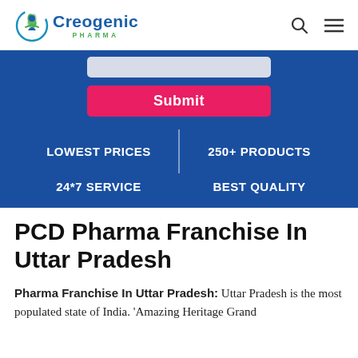Creogenic Pharma
[Figure (infographic): Blue banner with Submit button, showing features: LOWEST PRICES, 250+ PRODUCTS, 24*7 SERVICE, BEST QUALITY]
PCD Pharma Franchise In Uttar Pradesh
Pharma Franchise In Uttar Pradesh: Uttar Pradesh is the most populated state of India. 'Amazing Heritage Grand